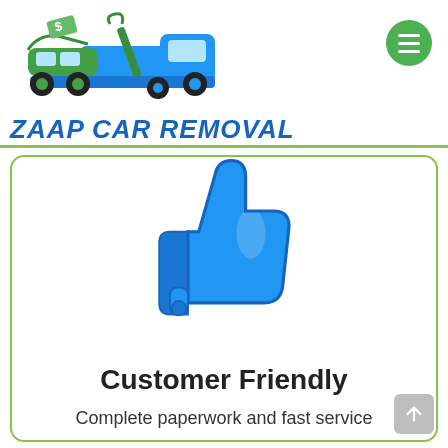ZAAP CAR REMOVAL
[Figure (illustration): Blue thumbs up / like icon, large, centered in a white card with green border]
Customer Friendly
Complete paperwork and fast service